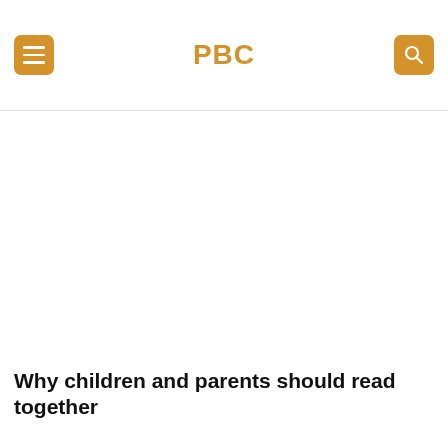from her standpoint. It is a vast world out there, and reading is one way to broaden your head to all of the possibilities.
PBC
[Figure (other): Large white/blank content area below the navigation header]
Why children and parents should read together